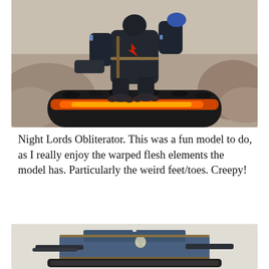[Figure (photo): Painted Warhammer 40K Night Lords Obliterator miniature on a scenic lava base with black slag and glowing orange lava, set against a rocky/stone background terrain.]
Night Lords Obliterator. This was a fun model to do, as I really enjoy the warped flesh elements the model has. Particularly the weird feet/toes. Creepy!
[Figure (photo): Painted Warhammer 40K vehicle or tank miniature in blue-grey tones with bronze/gold detailing, skull decorations, and a chaos icon on top, partially cropped at bottom of page.]